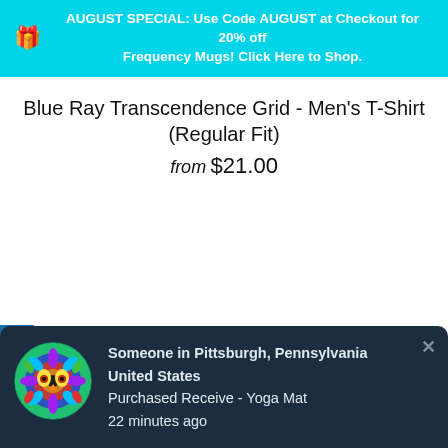AUGUST SPECIAL: Use Code AUGUST at Checkout for 20% off Frequency Mugs! Click Here to Shop.
Blue Ray Transcendence Grid - Men's T-Shirt (Regular Fit)
from $21.00
[Figure (other): My Wishlist vertical tab on left side]
[Figure (illustration): Circular colorful mandala/owl illustration used as notification avatar]
Someone in Pittsburgh, Pennsylvania United States Purchased Receive - Yoga Mat 22 minutes ago